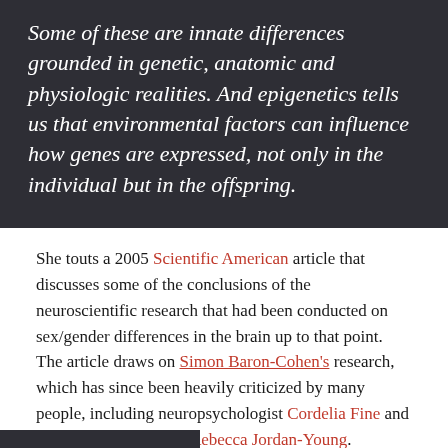Some of these are innate differences grounded in genetic, anatomic and physiologic realities. And epigenetics tells us that environmental factors can influence how genes are expressed, not only in the individual but in the offspring.
She touts a 2005 Scientific American article that discusses some of the conclusions of the neuroscientific research that had been conducted on sex/gender differences in the brain up to that point. The article draws on Simon Baron-Cohen's research, which has since been heavily criticized by many people, including neuropsychologist Cordelia Fine and sociomedical scientist Rebecca Jordan-Young.
[Figure (other): Small broken image placeholder labeled url-2]